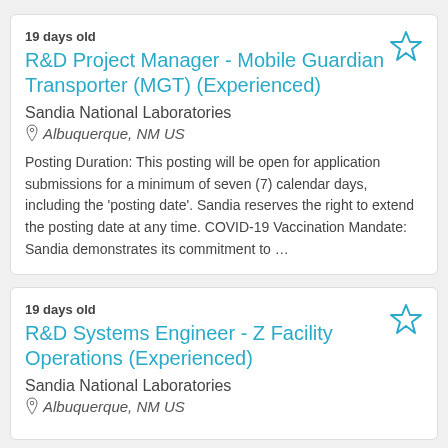19 days old
R&D Project Manager - Mobile Guardian Transporter (MGT) (Experienced)
Sandia National Laboratories
Albuquerque, NM US
Posting Duration: This posting will be open for application submissions for a minimum of seven (7) calendar days, including the 'posting date'. Sandia reserves the right to extend the posting date at any time. COVID-19 Vaccination Mandate: Sandia demonstrates its commitment to …
19 days old
R&D Systems Engineer - Z Facility Operations (Experienced)
Sandia National Laboratories
Albuquerque, NM US